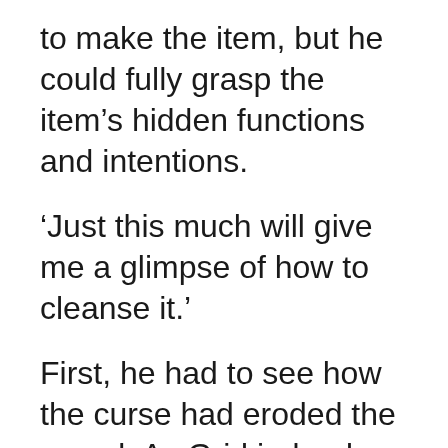to make the item, but he could fully grasp the item’s hidden functions and intentions.
‘Just this much will give me a glimpse of how to cleanse it.’
First, he had to see how the curse had eroded the sword. As Grid judged this, he used the hammer in his hand.
Ttang!